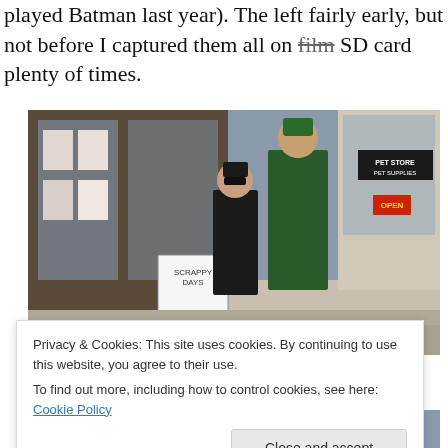played Batman last year). The left fairly early, but not before I captured them all on film SD card plenty of times.
[Figure (photo): Two people in costumes standing on a sidewalk in front of a store. One person wears a black suit with a black hat and mask (Riddler-style), the other wears a green coat and green hat. A sign reading 'SCRAPPY DAYS' is visible. A 'PET STORE PET SUPPLIES' sign is visible in the background.]
Privacy & Cookies: This site uses cookies. By continuing to use this website, you agree to their use.
To find out more, including how to control cookies, see here: Cookie Policy
[Figure (photo): Partial view of additional photos at the bottom of the page, cropped.]